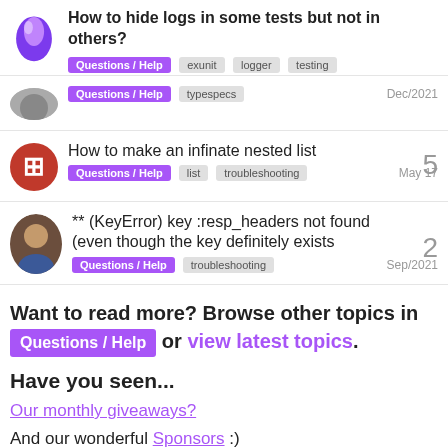How to hide logs in some tests but not in others? | Questions / Help, exunit, logger, testing
Questions / Help  typespecs  Dec/2021
How to make an infinate nested list | 5 | Questions / Help  list  troubleshooting  May 17
** (KeyError) key :resp_headers not found (even though the key definitely exists | 2 | Questions / Help  troubleshooting  Sep/2021
Want to read more? Browse other topics in Questions / Help or view latest topics.
Have you seen...
Our monthly giveaways?
And our wonderful Sponsors :)